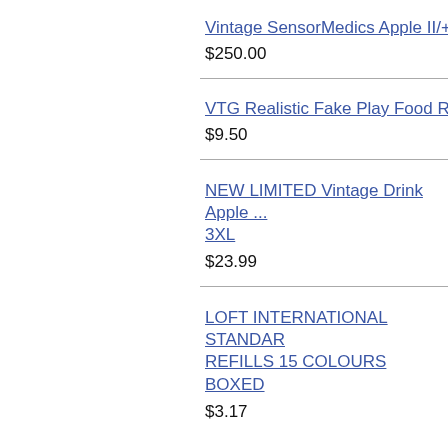Vintage SensorMedics Apple II/+/e Per...
$250.00
VTG Realistic Fake Play Food Replica...
$9.50
NEW LIMITED Vintage Drink Apple ... 3XL
$23.99
LOFT INTERNATIONAL STANDAR... REFILLS 15 COLOURS BOXED
$3.17